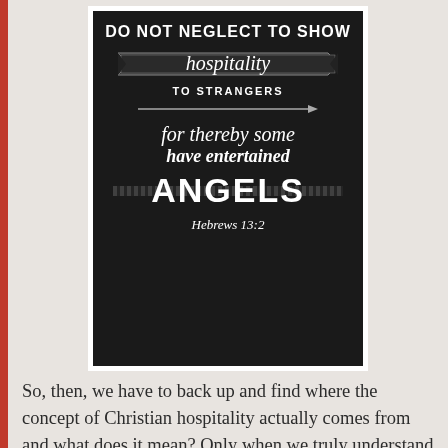[Figure (illustration): Dark chalkboard-style image with white text reading: 'DO NOT NEGLECT TO SHOW hospitality TO STRANGERS for thereby some have entertained ANGELS Hebrews 13:2']
So, then, we have to back up and find where the concept of Christian hospitality actually comes from and what does it mean? Only when we truly understand how we should approach hospitality as a church community can we begin to move